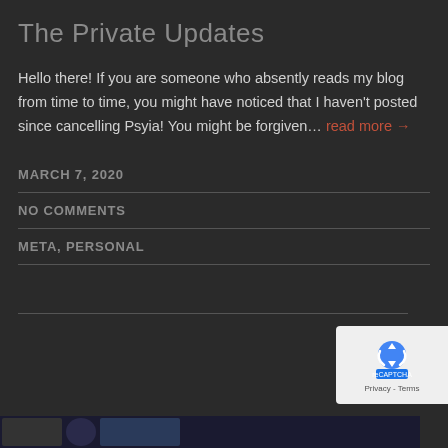The Private Updates
Hello there! If you are someone who absently reads my blog from time to time, you might have noticed that I haven't posted since cancelling Psyia! You might be forgiven… read more →
MARCH 7, 2020
NO COMMENTS
META, PERSONAL
[Figure (other): reCAPTCHA badge with Privacy - Terms text]
[Figure (photo): Dark image strip at bottom of page]